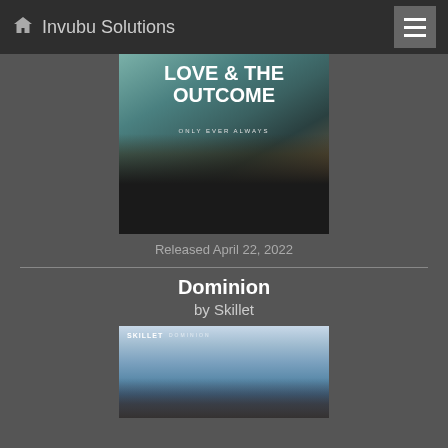Invubu Solutions
[Figure (photo): Album cover for 'Only Ever Always' by Love & The Outcome showing two people in dark clothing with large text overlay]
Released April 22, 2022
Dominion
by Skillet
[Figure (photo): Album cover for 'Dominion' by Skillet showing a sky with clouds and a figure, with 'SKILLET DOMINION' text at top]